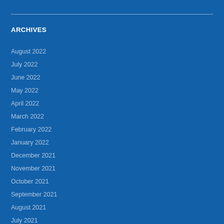ARCHIVES
August 2022
July 2022
June 2022
May 2022
April 2022
March 2022
February 2022
January 2022
December 2021
November 2021
October 2021
September 2021
August 2021
July 2021
June 2021